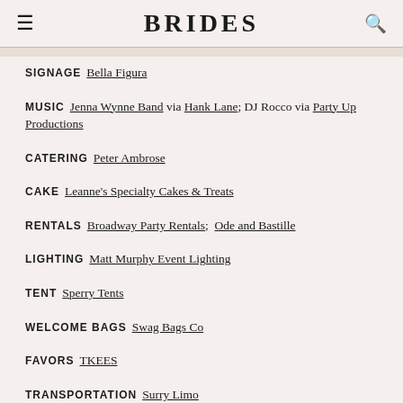BRIDES
SIGNAGE   Bella Figura
MUSIC   Jenna Wynne Band via Hank Lane; DJ Rocco via Party Up Productions
CATERING   Peter Ambrose
CAKE   Leanne's Specialty Cakes & Treats
RENTALS   Broadway Party Rentals;  Ode and Bastille
LIGHTING   Matt Murphy Event Lighting
TENT   Sperry Tents
WELCOME BAGS   Swag Bags Co
FAVORS   TKEES
TRANSPORTATION   Surry Limo